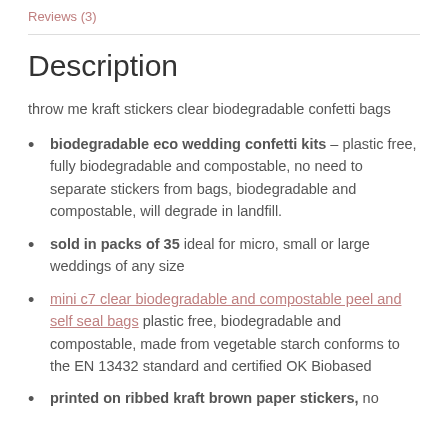Reviews (3)
Description
throw me kraft stickers clear biodegradable confetti bags
biodegradable eco wedding confetti kits – plastic free, fully biodegradable and compostable, no need to separate stickers from bags, biodegradable and compostable, will degrade in landfill.
sold in packs of 35 ideal for micro, small or large weddings of any size
mini c7 clear biodegradable and compostable peel and self seal bags plastic free, biodegradable and compostable, made from vegetable starch conforms to the EN 13432 standard and certified OK Biobased
printed on ribbed kraft brown paper stickers, no